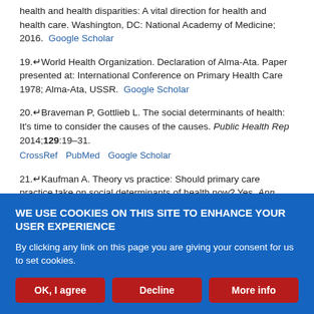health and health disparities: A vital direction for health and health care. Washington, DC: National Academy of Medicine; 2016. Google Scholar
19. World Health Organization. Declaration of Alma-Ata. Paper presented at: International Conference on Primary Health Care 1978; Alma-Ata, USSR. Google Scholar
20. Braveman P, Gottlieb L. The social determinants of health: It's time to consider the causes of the causes. Public Health Rep 2014;129:19–31. CrossRef PubMed Google Scholar
21. Kaufman A. Theory vs practice: Should primary care practice take on social determinants of health now? Yes. Ann Fam Med 2016;14:100–1. FREE Full Text Google Scholar
WE USE COOKIES ON THIS SITE TO ENHANCE YOUR USER EXPERIENCE
By clicking any link on this page you are giving your consent for us to set cookies.